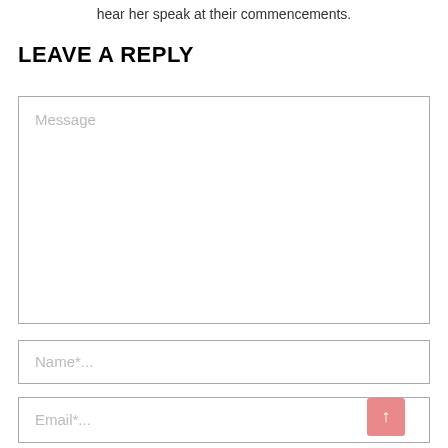hear her speak at their commencements.
LEAVE A REPLY
Message
Name*...
Email*...